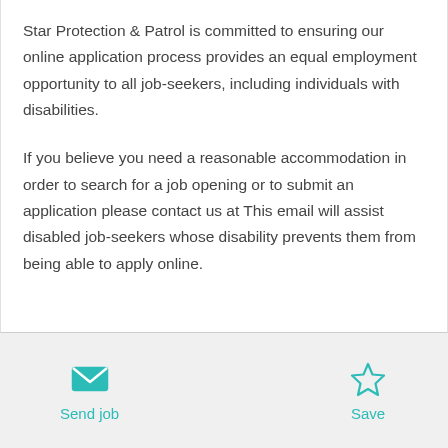Star Protection & Patrol is committed to ensuring our online application process provides an equal employment opportunity to all job-seekers, including individuals with disabilities.
If you believe you need a reasonable accommodation in order to search for a job opening or to submit an application please contact us at This email will assist disabled job-seekers whose disability prevents them from being able to apply online.
Send job
Save